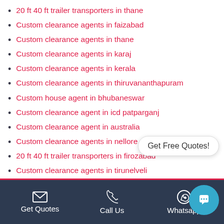20 ft 40 ft trailer transporters in thane
Custom clearance agents in faizabad
Custom clearance agents in thane
Custom clearance agents in karaj
Custom clearance agents in kerala
Custom clearance agents in thiruvananthapuram
Custom house agent in bhubaneswar
Custom clearance agent in icd patparganj
Custom clearance agent in australia
Custom clearance agents in nellore
20 ft 40 ft trailer transporters in firozabad
Custom clearance agents in tirunelveli
Custom clearance agent in assam
Custom clearance agents in jharkhand
Custom clearance agent in bangalore airport
Get Quotes | Call Us | Whatsapp